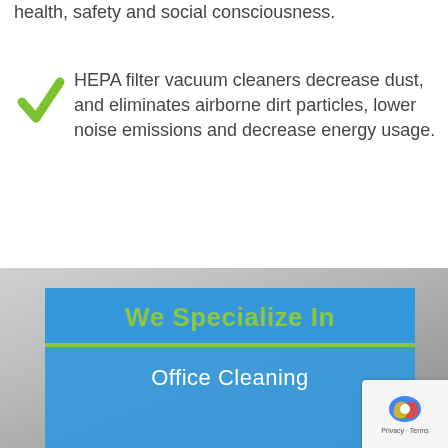health, safety and social consciousness.
HEPA filter vacuum cleaners decrease dust, and eliminates airborne dirt particles, lower noise emissions and decrease energy usage.
We Specialize In
Office Cleaning